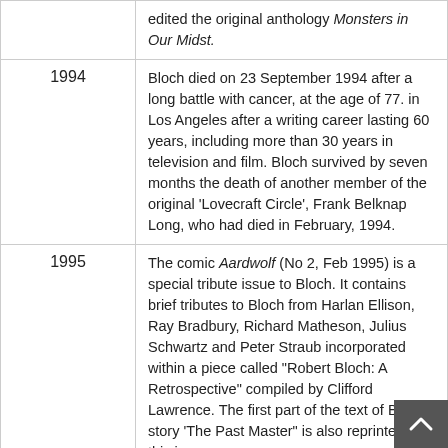| Year | Description |
| --- | --- |
|  | edited the original anthology Monsters in Our Midst. |
| 1994 | Bloch died on 23 September 1994 after a long battle with cancer, at the age of 77. in Los Angeles after a writing career lasting 60 years, including more than 30 years in television and film. Bloch survived by seven months the death of another member of the original 'Lovecraft Circle', Frank Belknap Long, who had died in February, 1994. |
| 1995 | The comic Aardwolf (No 2, Feb 1995) is a special tribute issue to Bloch. It contains brief tributes to Bloch from Harlan Ellison, Ray Bradbury, Richard Matheson, Julius Schwartz and Peter Straub incorporated within a piece called "Robert Bloch: A Retrospective" compiled by Clifford Lawrence. The first part of the text of Bloch's story 'The Past Master" is also reprinted in this issue. |
| 1997 | Bloch continued to published short story collections throughout this period. His Selected Stories (reprinted in paperback with the incorrect |